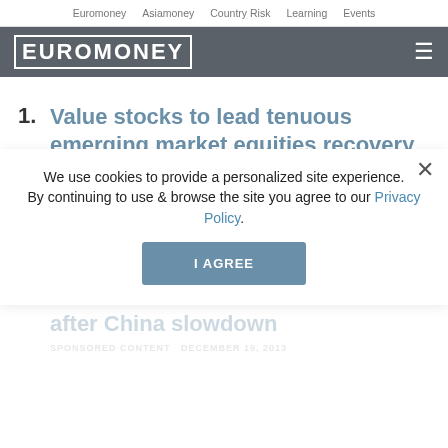Euromoney  Asiamoney  Country Risk  Learning  Events
[Figure (logo): Euromoney logo in white on dark grey header bar with hamburger menu icon]
1. Value stocks to lead tenuous emerging market equities recovery in 2014, but investors pickier
SPONSORED CONTENT  December 19, 2013
2. Ross Walker: UK has quantity of growth but lacks quality
We use cookies to provide a personalized site experience.
By continuing to use & browse the site you agree to our Privacy Policy.
3. Year of the BRICS to end on a low after China slowdown
SPONSORED CONTENT  December 19, 2013